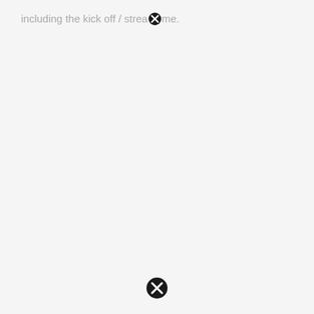including the kick off / stream time.